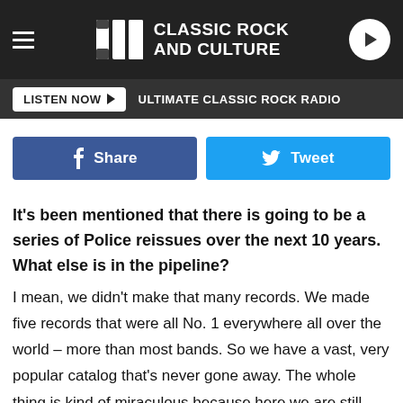UCR CLASSIC ROCK AND CULTURE
LISTEN NOW ▶   ULTIMATE CLASSIC ROCK RADIO
Share   Tweet
It's been mentioned that there is going to be a series of Police reissues over the next 10 years. What else is in the pipeline?
I mean, we didn't make that many records. We made five records that were all No. 1 everywhere all over the world – more than most bands. So we have a vast, very popular catalog that's never gone away. The whole thing is kind of miraculous because here we are still talking about it all of these years later. The music never seems to go away, which